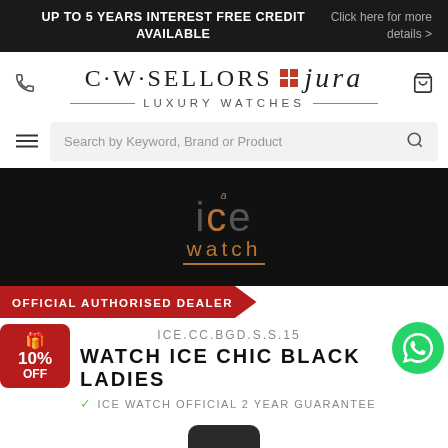UP TO 5 YEARS INTEREST FREE CREDIT AVAILABLE | Click here for more details >
[Figure (logo): CW Sellors Jura Luxury Watches logo with phone icon and cart icon]
Search by Keyword, Brand or Product
[Figure (logo): Ice Watch brand logo on black background]
OFFICIAL AUTHORISED DEALER
ICE.CC.BGD.S.S.15
WATCH ICE CHIC BLACK LADIES
ICE WATCH OFFICIAL 2 YEAR GUARANTEE
[Figure (photo): Partial view of Ice Chic Black Ladies watch at bottom of page]